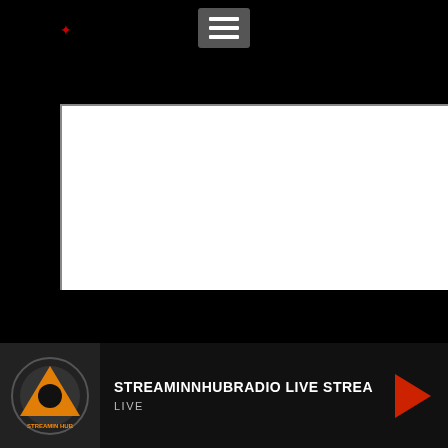[Figure (screenshot): Menu hamburger icon (three horizontal lines) on dark background, positioned center-top]
[Figure (screenshot): White empty content box (main content area) with resize handle at bottom-right]
[Figure (screenshot): White/grey secondary content box below main area]
[Figure (screenshot): Red X close button overlapping progress bar area]
[Figure (screenshot): Audio player bar at bottom with StreaminnHubRadio logo, title STREAMINNHUBRADIO LIVE STREA, LIVE label, and red play button]
STREAMINNHUBRADIO LIVE STREA
LIVE